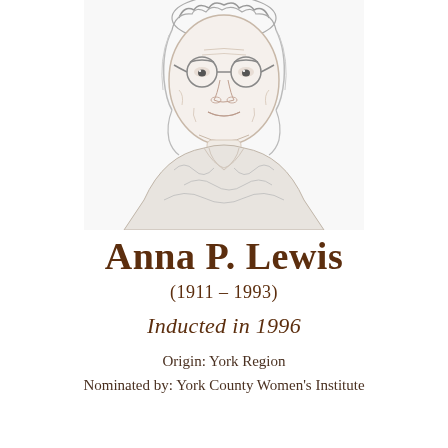[Figure (illustration): Pencil sketch portrait of an elderly woman with curly hair and glasses, wearing a patterned blouse]
Anna P. Lewis
(1911 – 1993)
Inducted in 1996
Origin: York Region
Nominated by: York County Women's Institute